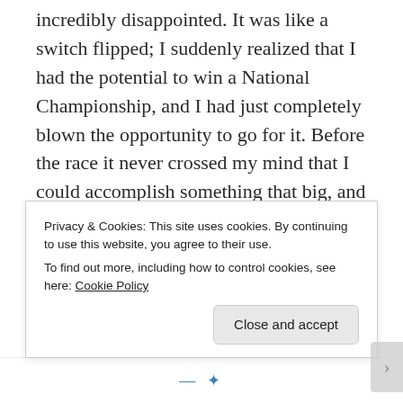incredibly disappointed. It was like a switch flipped; I suddenly realized that I had the potential to win a National Championship, and I had just completely blown the opportunity to go for it. Before the race it never crossed my mind that I could accomplish something that big, and so when the opportunity came, I had already mentally removed myself from that battle. I was so furious with myself after that race, and I immediately set a goal to win the following year. And one year later, I won the 1500 at DII
Privacy & Cookies: This site uses cookies. By continuing to use this website, you agree to their use.
To find out more, including how to control cookies, see here: Cookie Policy
Close and accept